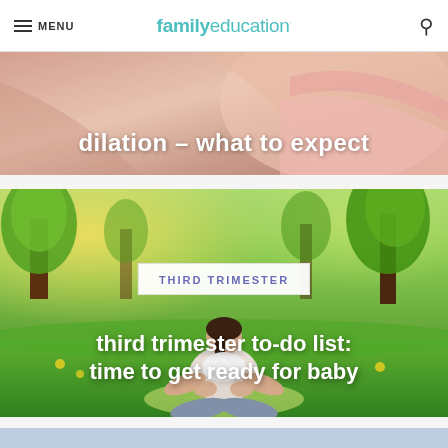MENU | familyeducation
[Figure (photo): Close-up of pregnant belly or skin with partial text overlay reading 'dilation - what to expect']
dilation - what to expect
[Figure (photo): Pregnant woman sitting cross-legged in a park doing prenatal yoga, with trees and green grass in background]
THIRD TRIMESTER
third trimester to-do list: time to get ready for baby
[Figure (photo): Partial view of a third article image, indoor setting]